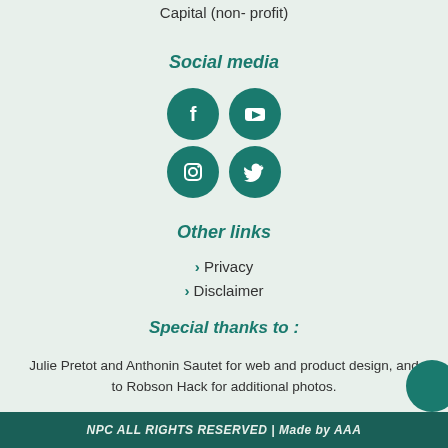Capital (non- profit)
Social media
[Figure (illustration): Four social media icons in teal circles: Facebook, YouTube, Instagram, Twitter arranged in a 2x2 grid]
Other links
> Privacy
> Disclaimer
Special thanks to :
Julie Pretot and Anthonin Sautet for web and product design, and to Robson Hack for additional photos.
NPC ALL RIGHTS RESERVED | Made by AAA